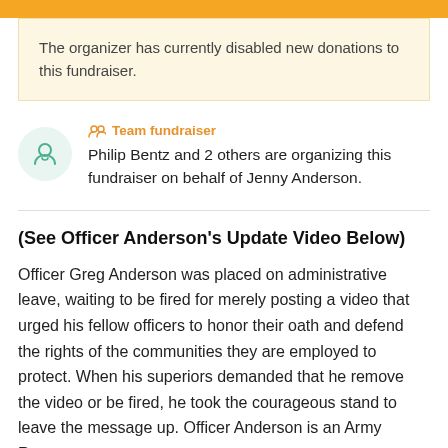The organizer has currently disabled new donations to this fundraiser.
Team fundraiser
Philip Bentz and 2 others are organizing this fundraiser on behalf of Jenny Anderson.
(See Officer Anderson's Update Video Below)
Officer Greg Anderson was placed on administrative leave, waiting to be fired for merely posting a video that urged his fellow officers to honor their oath and defend the rights of the communities they are employed to protect. When his superiors demanded that he remove the video or be fired, he took the courageous stand to leave the message up. Officer Anderson is an Army Ranger